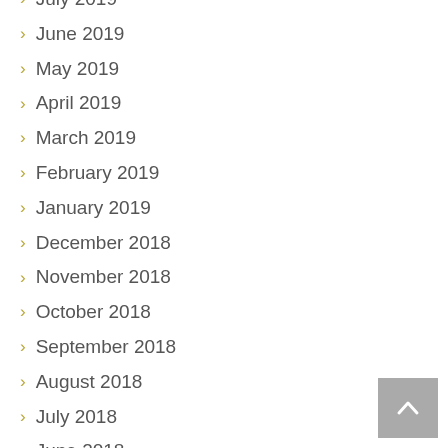July 2019
June 2019
May 2019
April 2019
March 2019
February 2019
January 2019
December 2018
November 2018
October 2018
September 2018
August 2018
July 2018
June 2018
May 2018
April 2018
March 2018
October 2015